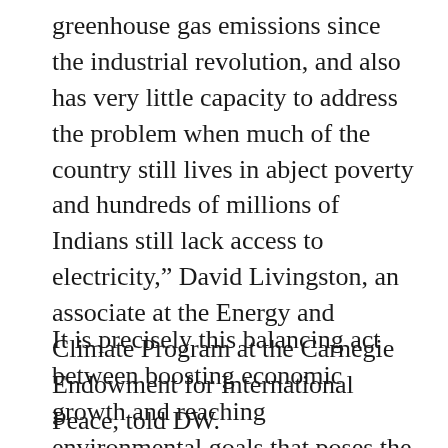greenhouse gas emissions since the industrial revolution, and also has very little capacity to address the problem when much of the country still lives in abject poverty and hundreds of millions of Indians still lack access to electricity,” David Livingston, an associate at the Energy and Climate Program at the Carnegie Endowment for International Peace, told DW.
It is precisely this balancing act between boosting economic growth and reaching environmental goals that poses the greatest political challenge to leaders of developing